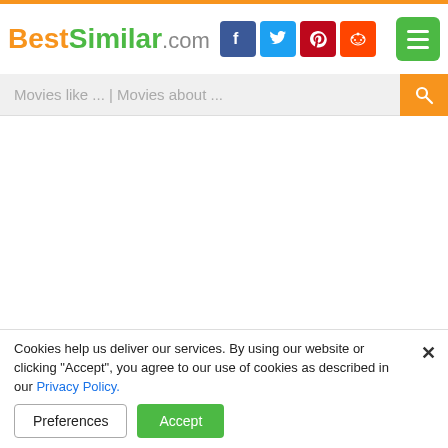BestSimilar.com
Movies like ... | Movies about ...
Genre: Horror
Country: USA
Duration: 92 min.
Cookies help us deliver our services. By using our website or clicking "Accept", you agree to our use of cookies as described in our Privacy Policy.